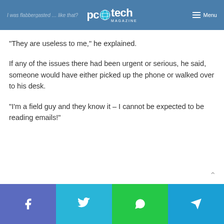pc tech magazine – I was flabbergasted … like that? Menu
“They are useless to me,” he explained.
If any of the issues there had been urgent or serious, he said, someone would have either picked up the phone or walked over to his desk.
“I’m a field guy and they know it – I cannot be expected to be reading emails!”
Social share bar: Facebook, Twitter, WhatsApp, Telegram